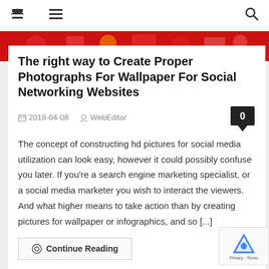🏠 ☰ 🔍
[Figure (illustration): Red banner with colorful social media and photography themed illustrations]
The right way to Create Proper Photographs For Wallpaper For Social Networking Websites
2018-04-08   WebEditor   0
The concept of constructing hd pictures for social media utilization can look easy, however it could possibly confuse you later. If you're a search engine marketing specialist, or a social media marketer you wish to interact the viewers. And what higher means to take action than by creating pictures for wallpaper or infographics, and so [...]
⊙  Continue Reading